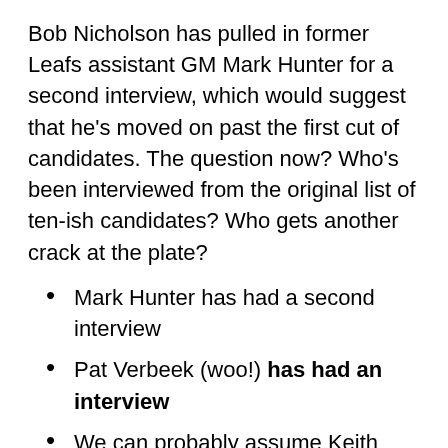Bob Nicholson has pulled in former Leafs assistant GM Mark Hunter for a second interview, which would suggest that he’s moved on past the first cut of candidates. The question now? Who’s been interviewed from the original list of ten-ish candidates? Who gets another crack at the plate?
Mark Hunter has had a second interview
Pat Verbeek (woo!) has had an interview
We can probably assume Keith Gretzky has had a twice-over
Anyone else? Mike Gillis? Bill Guerin? Kelly McCrimmon?
I doubt that this is a conclusive list of candidates. If it is, I think fans would receive one of Hunter or Verbeek